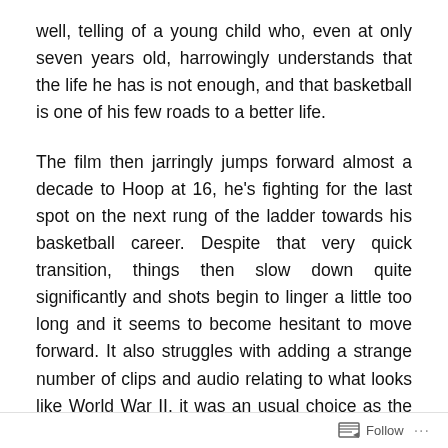well, telling of a young child who, even at only seven years old, harrowingly understands that the life he has is not enough, and that basketball is one of his few roads to a better life.
The film then jarringly jumps forward almost a decade to Hoop at 16, he's fighting for the last spot on the next rung of the ladder towards his basketball career. Despite that very quick transition, things then slow down quite significantly and shots begin to linger a little too long and it seems to become hesitant to move forward. It also struggles with adding a strange number of clips and audio relating to what looks like World War II, it was an usual choice as the parallel isn't strong enough between them and Hoop's situation, making it feel slightly inappropriate and taking away from the story rather than adding.
Follow